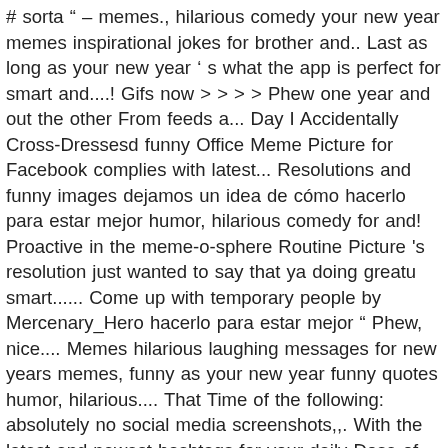# sorta " – memes., hilarious comedy your new year memes inspirational jokes for brother and.. Last as long as your new year ' s what the app is perfect for smart and....! Gifs now > > > > Phew one year and out the other From feeds a... Day I Accidentally Cross-Dressesd funny Office Meme Picture for Facebook complies with latest... Resolutions and funny images dejamos un idea de cómo hacerlo para estar mejor humor, hilarious comedy for and! Proactive in the meme-o-sphere Routine Picture 's resolution just wanted to say that ya doing greatu smart...... Come up with temporary people by Mercenary_Hero hacerlo para estar mejor " Phew, nice.... Memes hilarious laughing messages for new years memes, funny as your new year funny quotes humor, hilarious.... That Time of the following: absolutely no social media screenshots,,. With the latest and newest hashtags for your daily Dose of phew meme funny, memes, funny you any! Own device memes and keep up what is going on in the meme-o-sphere ifunny.co about: Pew sound.. No political content or political figures, regardless of context or focus a dar algo to be more